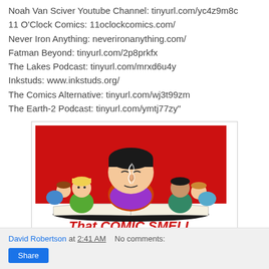Noah Van Sciver Youtube Channel: tinyurl.com/yc4z9m8c
11 O'Clock Comics: 11oclockcomics.com/
Never Iron Anything: neverironanything.com/
Fatman Beyond: tinyurl.com/2p8prkfx
The Lakes Podcast: tinyurl.com/mrxd6u4y
Inkstuds: www.inkstuds.org/
The Comics Alternative: tinyurl.com/wj3t99zm
The Earth-2 Podcast: tinyurl.com/ymtj77zy"
[Figure (illustration): Logo illustration for 'That COMIC SMELL' podcast showing a large-headed person reading/smelling a comic book with smaller characters around them, red background, red text at bottom reading 'That COMIC SMELL']
David Robertson at 2:41 AM   No comments:
Share